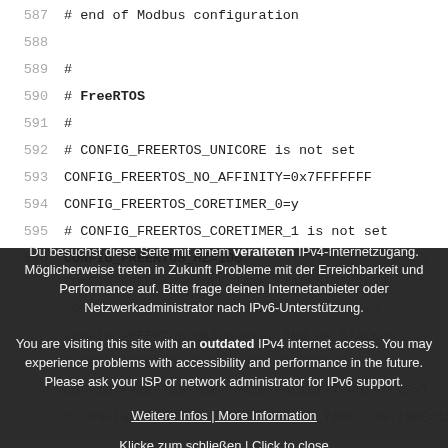587   # end of Modbus configuration
588
589   #
590   # FreeRTOS
591   #
592   # CONFIG_FREERTOS_UNICORE is not set
593   CONFIG_FREERTOS_NO_AFFINITY=0x7FFFFFFF
594   CONFIG_FREERTOS_CORETIMER_0=y
595   # CONFIG_FREERTOS_CORETIMER_1 is not set
596   CONFIG_FREERTOS_HZ=100
Du besuchst diese Seite mit einem veralteten IPv4-Internetzugang. Möglicherweise treten in Zukunft Probleme mit der Erreichbarkeit und Performance auf. Bitte frage deinen Internetanbieter oder Netzwerkadministrator nach IPv6-Unterstützung.
You are visiting this site with an outdated IPv4 internet access. You may experience problems with accessibility and performance in the future. Please ask your ISP or network administrator for IPv6 support.
Weitere Infos | More Information
Klicke zum schließen | Click to close